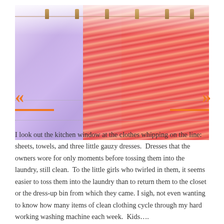[Figure (photo): Photo of colorful dresses hanging on a clothesline with wooden clothespins. Left side shows a lavender/purple gauzy dress and right side shows a pink and red striped dress. The image is slightly overexposed at the top.]
I look out the kitchen window at the clothes whipping on the line: sheets, towels, and three little gauzy dresses.  Dresses that the owners wore for only moments before tossing them into the laundry, still clean.  To the little girls who twirled in them, it seems easier to toss them into the laundry than to return them to the closet or the dress-up bin from which they came. I sigh, not even wanting to know how many items of clean clothing cycle through my hard working washing machine each week.  Kids….